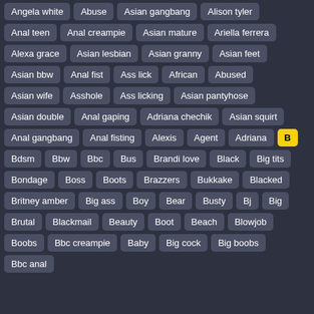Angela white
Abuse
Asian gangbang
Alison tyler
Anal teen
Anal creampie
Asian mature
Ariella ferrera
Alexa grace
Asian lesbian
Asian granny
Asian feet
Asian bbw
Anal fist
Ass lick
African
Abused
Asian wife
Asshole
Ass licking
Asian pantyhose
Asian double
Anal gaping
Adriana chechik
Asian squirt
Anal gangbang
Anal fisting
Alexis
Agent
Adriana
B
Bdsm
Bbw
Bbc
Bus
Brandi love
Black
Big tits
Bondage
Boss
Boots
Brazzers
Bukkake
Blacked
Britney amber
Big ass
Boy
Bear
Busty
Bj
Big
Brutal
Blackmail
Beauty
Boot
Beach
Blowjob
Boobs
Bbc creampie
Baby
Big cock
Big boobs
Bbc anal